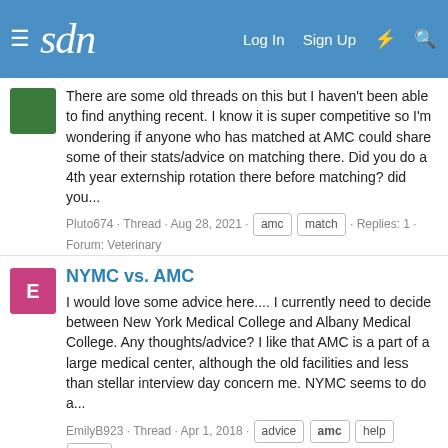sdn — Log In  Sign Up
There are some old threads on this but I haven't been able to find anything recent. I know it is super competitive so I'm wondering if anyone who has matched at AMC could share some of their stats/advice on matching there. Did you do a 4th year externship rotation there before matching? did you...
Pluto674 · Thread · Aug 28, 2021 · amc · match · Replies: 1 · Forum: Veterinary
NYMC vs. AMC
I would love some advice here.... I currently need to decide between New York Medical College and Albany Medical College. Any thoughts/advice? I like that AMC is a part of a large medical center, although the old facilities and less than stellar interview day concern me. NYMC seems to do a...
EmilyB923 · Thread · Apr 1, 2018 · advice · amc · help · nymc · Replies: 1 · Forum: Help Me Decide: X vs Y Medical School (2021-2022)
Australian Medical Council Exam prep
Hi there, I just graduated from a UK uni with an MBBS. Long story...